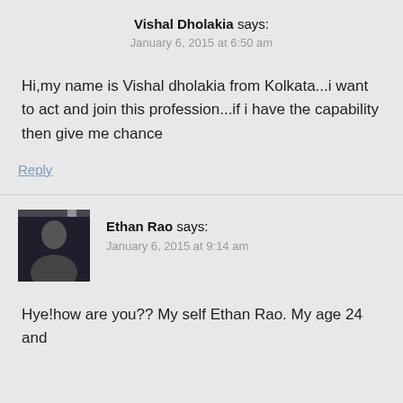Vishal Dholakia says:
January 6, 2015 at 6:50 am
Hi,my name is Vishal dholakia from Kolkata...i want to act and join this profession...if i have the capability then give me chance
Reply
Ethan Rao says:
January 6, 2015 at 9:14 am
Hye!how are you?? My self Ethan Rao. My age 24 and